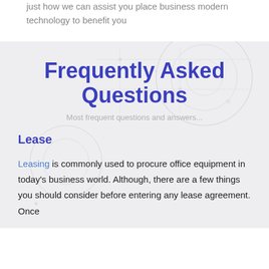just how we can assist you place business modern technology to benefit you
Frequently Asked Questions
Most frequent questions and answers...
Lease
Leasing is commonly used to procure office equipment in today's business world. Although, there are a few things you should consider before entering any lease agreement. Once